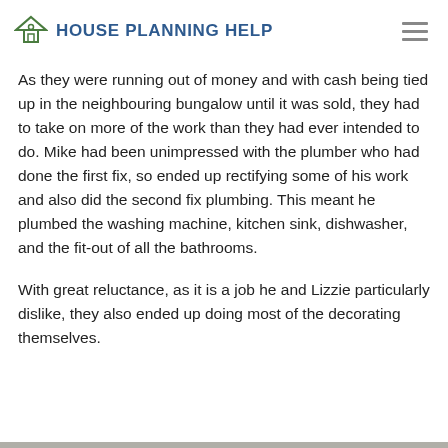House Planning Help
As they were running out of money and with cash being tied up in the neighbouring bungalow until it was sold, they had to take on more of the work than they had ever intended to do. Mike had been unimpressed with the plumber who had done the first fix, so ended up rectifying some of his work and also did the second fix plumbing. This meant he plumbed the washing machine, kitchen sink, dishwasher, and the fit-out of all the bathrooms.
With great reluctance, as it is a job he and Lizzie particularly dislike, they also ended up doing most of the decorating themselves.